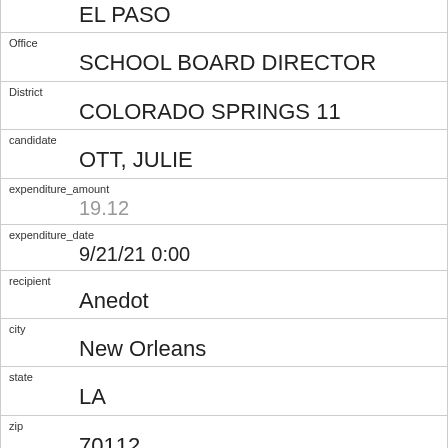EL PASO
Office
SCHOOL BOARD DIRECTOR
District
COLORADO SPRINGS 11
candidate
OTT, JULIE
expenditure_amount
19.12
expenditure_date
9/21/21 0:00
recipient
Anedot
city
New Orleans
state
LA
zip
70112
expenditure_type
Bank Fees